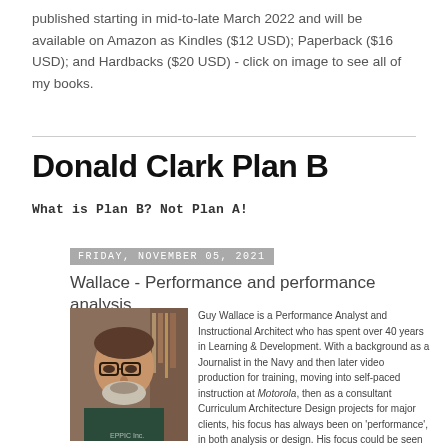published starting in mid-to-late March 2022 and will be available on Amazon as Kindles ($12 USD); Paperback ($16 USD); and Hardbacks ($20 USD) - click on image to see all of my books.
Donald Clark Plan B
What is Plan B? Not Plan A!
Friday, November 05, 2021
Wallace - Performance and performance analysis
[Figure (photo): Headshot photo of Guy Wallace, a man with glasses and a beard wearing a dark shirt]
Guy Wallace is a Performance Analyst and Instructional Architect who has spent over 40 years in Learning & Development. With a background as a Journalist in the Navy and then later video production for training, moving into self-paced instruction at Motorola, then as a consultant Curriculum Architecture Design projects for major clients, his focus has always been on 'performance', in both analysis or design. His focus could be seen as lying at both the top and tail of learning design - an emphasis on up-front analysis with its eyes on end-point performance. He has published 17 books and many articles on